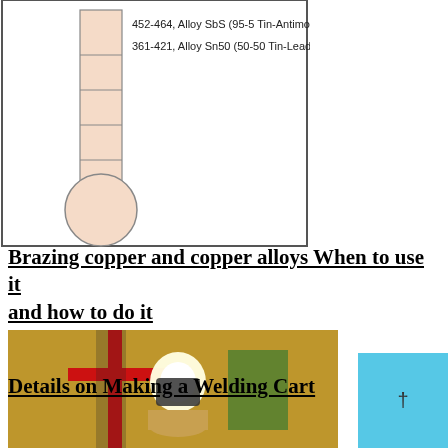[Figure (illustration): Partial thermometer diagram showing temperature ranges for soldering alloys: 452-464 Alloy SbS (95-5 Tin-Antimony) and 361-421 Alloy Sn50 (50-50 Tin-Lead), with a bulb at the bottom]
Brazing copper and copper alloys When to use it and how to do it
[Figure (photo): Photo of a brazing or welding operation being performed on a metal part, showing bright flame, red stand, and metal components against a background of granular material]
Details on Making a Welding Cart